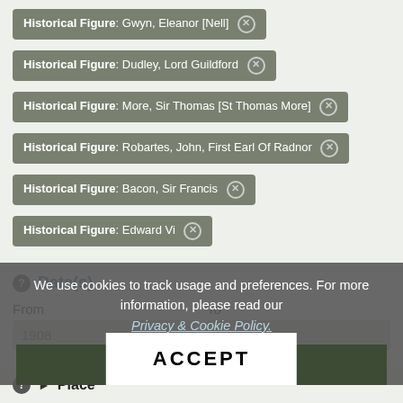Historical Figure: Gwyn, Eleanor [Nell] ×
Historical Figure: Dudley, Lord Guildford ×
Historical Figure: More, Sir Thomas [St Thomas More] ×
Historical Figure: Robartes, John, First Earl Of Radnor ×
Historical Figure: Bacon, Sir Francis ×
Historical Figure: Edward Vi ×
Date(s)
From
To
1908
1908
We use cookies to track usage and preferences. For more information, please read our Privacy & Cookie Policy.
Update search
ACCEPT
Place